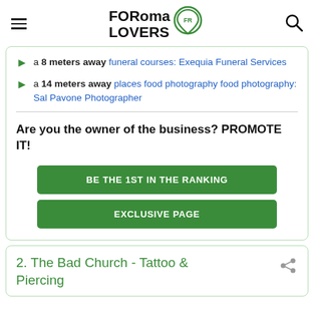FORoma LOVERS
a 8 meters away funeral courses: Exequia Funeral Services
a 14 meters away places food photography food photography: Sal Pavone Photographer
Are you the owner of the business? PROMOTE IT!
BE THE 1ST IN THE RANKING
EXCLUSIVE PAGE
2. The Bad Church - Tattoo & Piercing